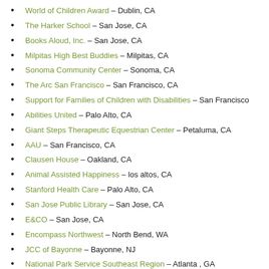World of Children Award – Dublin, CA
The Harker School – San Jose, CA
Books Aloud, Inc. – San Jose, CA
Milpitas High Best Buddies – Milpitas, CA
Sonoma Community Center – Sonoma, CA
The Arc San Francisco – San Francisco, CA
Support for Families of Children with Disabilities – San Francisco
Abilities United – Palo Alto, CA
Giant Steps Therapeutic Equestrian Center – Petaluma, CA
AAU – San Francisco, CA
Clausen House – Oakland, CA
Animal Assisted Happiness – los altos, CA
Stanford Health Care – Palo Alto, CA
San Jose Public Library – San Jose, CA
E&CO – San Jose, CA
Encompass Northwest – North Bend, WA
JCC of Bayonne – Bayonne, NJ
National Park Service Southeast Region – Atlanta , GA
FUHSD – Sunnyvale, CA